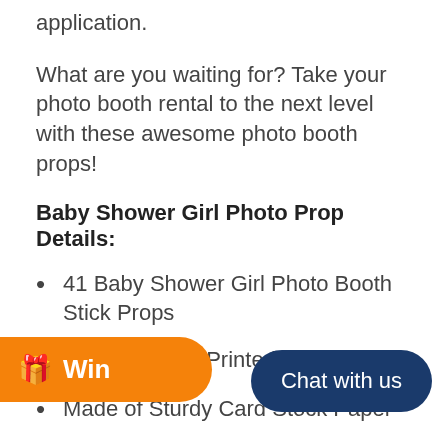application.
What are you waiting for? Take your photo booth rental to the next level with these awesome photo booth props!
Baby Shower Girl Photo Prop Details:
41 Baby Shower Girl Photo Booth Stick Props
Professionally Printed & Cut
Made of Sturdy Card Stock Paper
Wooden Dowels & Adhesive
To be assembled